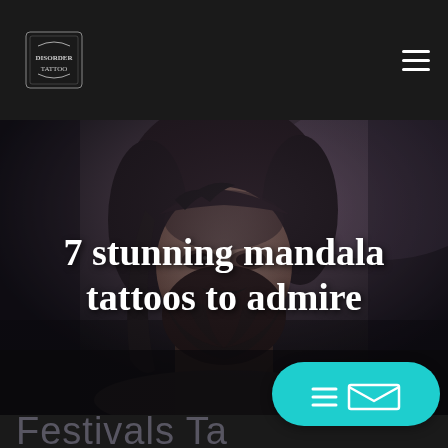Disorder Tattoo — navigation bar with logo and hamburger menu
[Figure (photo): Dark moody photo of a bearded man with long hair and a nose ring, shown from shoulders up against a dark blurred background]
7 stunning mandala tattoos to admire
Festivals Ta
[Figure (other): Cyan/teal rounded pill-shaped button with an envelope/email icon and lines icon]